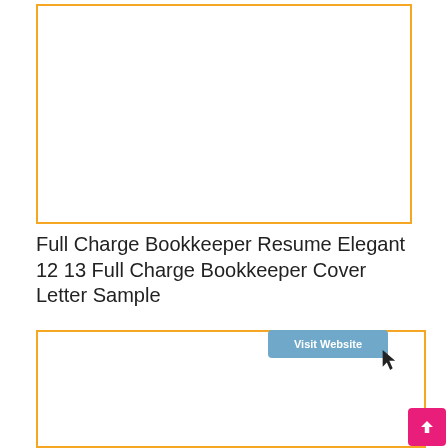[Figure (other): Empty orange-bordered box at top of page, representing an image placeholder for a resume/cover letter sample]
Full Charge Bookkeeper Resume Elegant 12 13 Full Charge Bookkeeper Cover Letter Sample
[Figure (screenshot): Preview of a cover letter sample with 'Visit Website' button, cursor icon, and letter content including header for John Jones Jr., Customer Care Professional, dated January 15 2018, addressed to Ms. Alice Smith, Hiring Manager, ABC Company, 123 Main Street, City ST 11111, with salutation Dear Ms. Smith and opening paragraph text.]